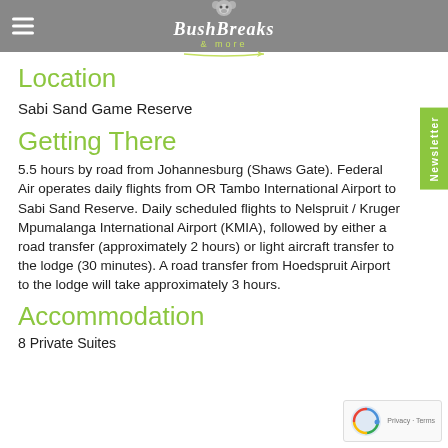BushBreaks & more
Location
Sabi Sand Game Reserve
Getting There
5.5 hours by road from Johannesburg (Shaws Gate). Federal Air operates daily flights from OR Tambo International Airport to Sabi Sand Reserve. Daily scheduled flights to Nelspruit / Kruger Mpumalanga International Airport (KMIA), followed by either a road transfer (approximately 2 hours) or light aircraft transfer to the lodge (30 minutes). A road transfer from Hoedspruit Airport to the lodge will take approximately 3 hours.
Accommodation
8 Private Suites